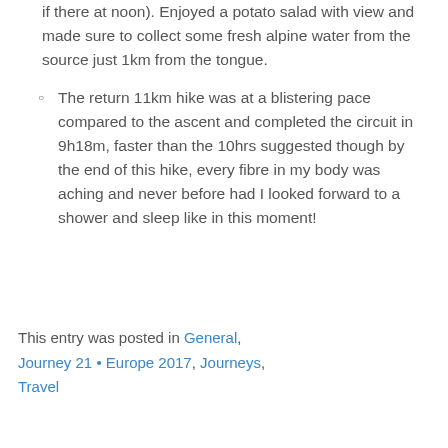if there at noon). Enjoyed a potato salad with view and made sure to collect some fresh alpine water from the source just 1km from the tongue.
The return 11km hike was at a blistering pace compared to the ascent and completed the circuit in 9h18m, faster than the 10hrs suggested though by the end of this hike, every fibre in my body was aching and never before had I looked forward to a shower and sleep like in this moment!
This entry was posted in General, Journey 21 • Europe 2017, Journeys, Travel